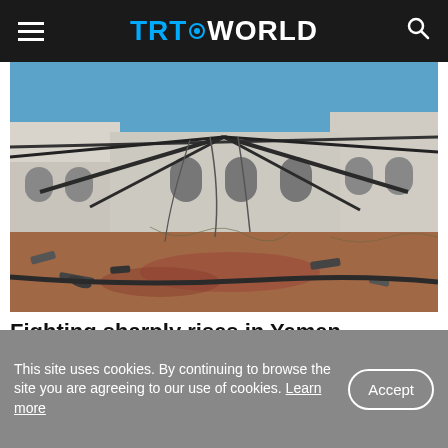TRT WORLD
[Figure (photo): Destroyed building structure with collapsed roof framework and rubble on the ground, under a clear blue sky — war damage in Yemen]
Fighting sharply rises in Yemen, endangering peace efforts
This site uses cookies. By continuing to browse the site you are agreeing to our use of cookies. Learn more